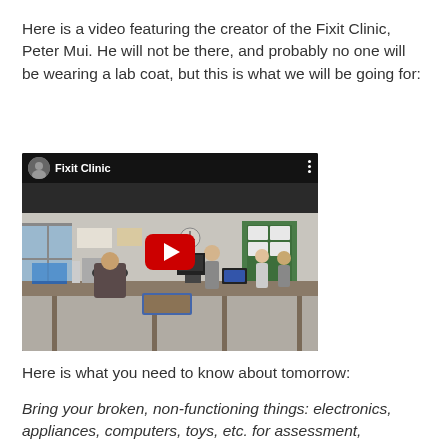Here is a video featuring the creator of the Fixit Clinic, Peter Mui. He will not be there, and probably no one will be wearing a lab coat, but this is what we will be going for:
[Figure (screenshot): Embedded YouTube video thumbnail showing 'Fixit Clinic' with people working at tables with electronics and computers in an office/classroom setting. A large red play button is centered on the video.]
Here is what you need to know about tomorrow:
Bring your broken, non-functioning things: electronics, appliances, computers, toys, etc. for assessment, disassembly, and possible repair. We'll provide workspace,